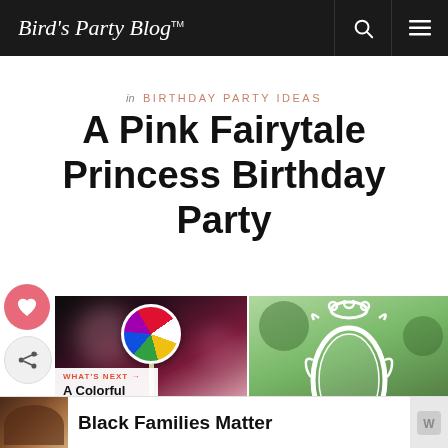Bird's Party Blog™
in BIRTHDAY PARTY IDEAS
A Pink Fairytale Princess Birthday Party
[Figure (photo): Two-panel party photo: left panel shows colorful lollipop/candy with pink ribbon against dark background; right panel shows ornate white decorative frame against green garden background with pink flower accent]
WHAT'S NEXT → A Colorful Rainbow Art...
Black Families Matter